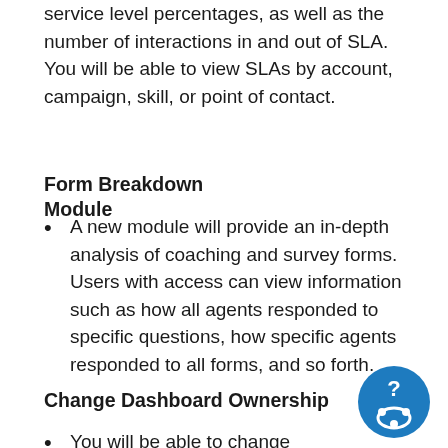service level percentages, as well as the number of interactions in and out of SLA. You will be able to view SLAs by account, campaign, skill, or point of contact.
Form Breakdown Module
A new module will provide an in-depth analysis of coaching and survey forms. Users with access can view information such as how all agents responded to specific questions, how specific agents responded to all forms, and so forth.
Change Dashboard Ownership
You will be able to change